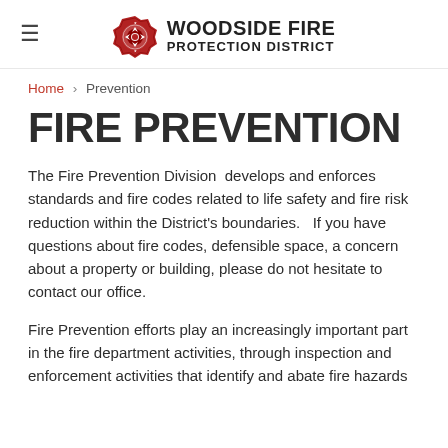WOODSIDE FIRE PROTECTION DISTRICT
Home › Prevention
FIRE PREVENTION
The Fire Prevention Division  develops and enforces standards and fire codes related to life safety and fire risk reduction within the District's boundaries.   If you have questions about fire codes, defensible space, a concern about a property or building, please do not hesitate to contact our office.
Fire Prevention efforts play an increasingly important part in the fire department activities, through inspection and enforcement activities that identify and abate fire hazards in the community. Fire Prevention also affects the...